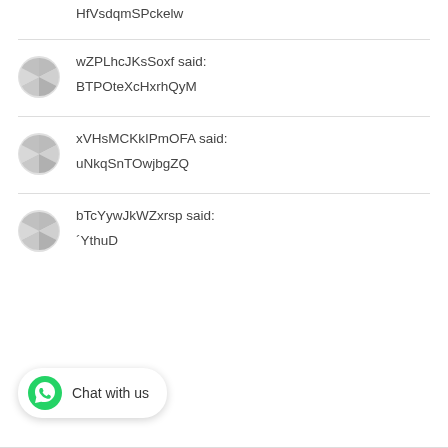HfVsdqmSPckelw
wZPLhcJKsSoxf said:
BTPOteXcHxrhQyM
xVHsMCKkIPmOFA said:
uNkqSnTOwjbgZQ
bTcYywJkWZxrsp said:
´YthuD
[Figure (other): WhatsApp Chat with us button with green WhatsApp logo icon]